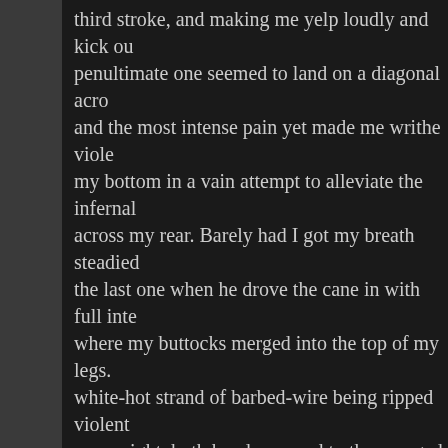third stroke, and making me yelp loudly and kick ou penultimate one seemed to land on a diagonal acro and the most intense pain yet made me writhe viole my bottom in a vain attempt to alleviate the infernal across my rear. Barely had I got my breath steadied the last one when he drove the cane in with full inte where my buttocks merged into the top of my legs. white-hot strand of barbed-wire being ripped violent me upright, both hands pressed to the savaged ski as I fought the agonising burn.
“Good,” observed Dale complacently. “I think you fe you a bit of self-control; and not to go about assault
He gave me a minute or two to get myself together dress. I did so slowly, pulling clothing over throbbing was outside and Blair was approaching.
“Bad?” he asked sympathetically.
“Horrendous.”